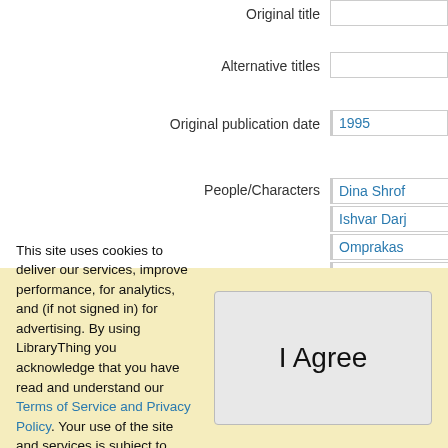| Field | Value |
| --- | --- |
| Original title |  |
| Alternative titles |  |
| Original publication date | 1995 |
| People/Characters | Dina Shroff |
|  | Ishvar Darj |
|  | Omprakash |
|  | Maneck Ko |
|  | Nusswan S |
This site uses cookies to deliver our services, improve performance, for analytics, and (if not signed in) for advertising. By using LibraryThing you acknowledge that you have read and understand our Terms of Service and Privacy Policy. Your use of the site and services is subject to these policies and terms.